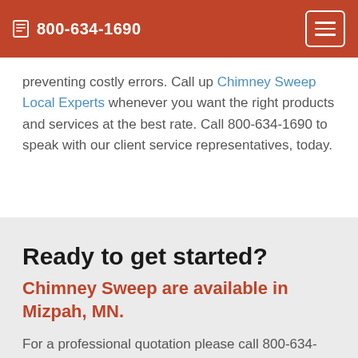800-634-1690
preventing costly errors. Call up Chimney Sweep Local Experts whenever you want the right products and services at the best rate. Call 800-634-1690 to speak with our client service representatives, today.
Ready to get started?
Chimney Sweep are available in Mizpah, MN.
For a professional quotation please call 800-634-